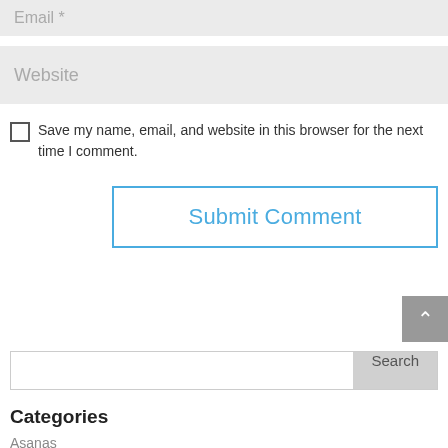Email *
Website
Save my name, email, and website in this browser for the next time I comment.
Submit Comment
Search
Categories
Asanas